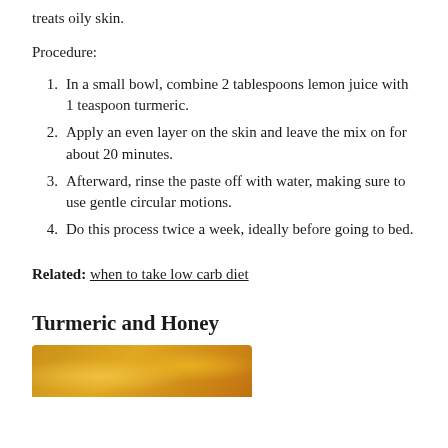treats oily skin.
Procedure:
In a small bowl, combine 2 tablespoons lemon juice with 1 teaspoon turmeric.
Apply an even layer on the skin and leave the mix on for about 20 minutes.
Afterward, rinse the paste off with water, making sure to use gentle circular motions.
Do this process twice a week, ideally before going to bed.
Related: when to take low carb diet
Turmeric and Honey
[Figure (photo): Photo of turmeric and honey ingredients, partially visible at bottom of page]